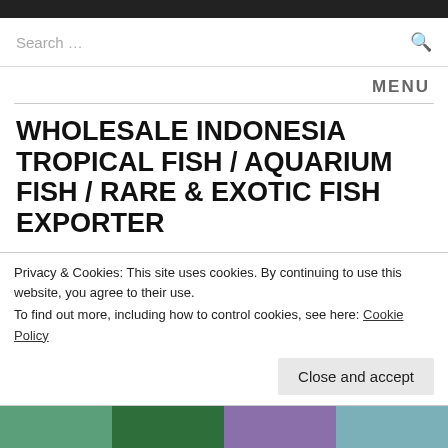Search ...
MENU
WHOLESALE INDONESIA TROPICAL FISH / AQUARIUM FISH / RARE & EXOTIC FISH EXPORTER
Exporter of tropical fish in Indonesia (aquarium fish / ornamental fish / rare & exotic fish) with more than 7 Years experience. We export tropical fish to wholesalers / importers / fish stores in almost all countries in Asia, Australia US, Europe, Middle East and Russia. Since we deal as a wholesaler with an enormous number of Indonesia breeders we can supply about 1000
Privacy & Cookies: This site uses cookies. By continuing to use this website, you agree to their use.
To find out more, including how to control cookies, see here: Cookie Policy
Close and accept
[Figure (photo): Four small thumbnail images of tropical fish at the bottom of the page]